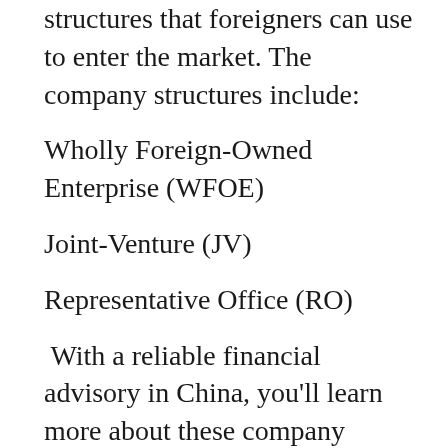structures that foreigners can use to enter the market. The company structures include:
Wholly Foreign-Owned Enterprise (WFOE)
Joint-Venture (JV)
Representative Office (RO)
With a reliable financial advisory in China, you'll learn more about these company structures so you can join the market legally.